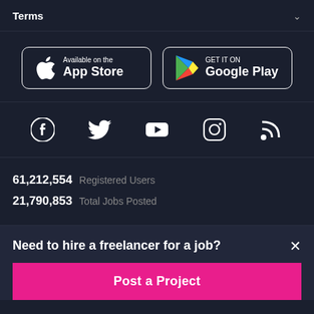Terms
[Figure (logo): App Store and Google Play download buttons]
[Figure (infographic): Social media icons: Facebook, Twitter, YouTube, Instagram, RSS]
61,212,554 Registered Users
21,790,853 Total Jobs Posted
Need to hire a freelancer for a job?
Post a Project